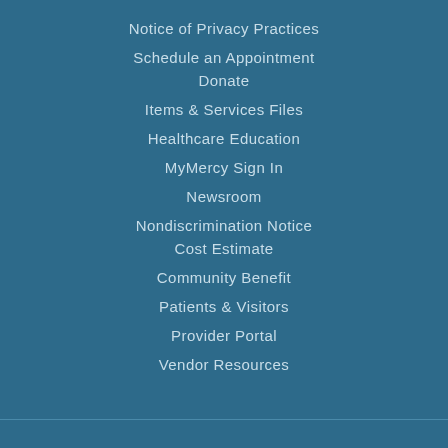Notice of Privacy Practices
Schedule an Appointment
Donate
Items & Services Files
Healthcare Education
MyMercy Sign In
Newsroom
Nondiscrimination Notice
Cost Estimate
Community Benefit
Patients & Visitors
Provider Portal
Vendor Resources